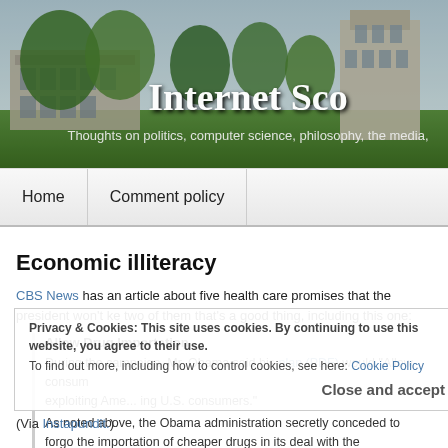[Figure (photo): University campus banner photo with trees and buildings, showing 'Internet Sco' (truncated blog title) and subtitle 'Thoughts on politics, computer science, philosophy, the media,']
Internet Sco
Thoughts on politics, computer science, philosophy, the media,
Economic illiteracy
CBS News has an article about five health care promises that the president won't ke two of them that's a good thing, including this one:
Allow Drug Importation
During the campaign, Mr. Obama said his plan (PDF) would "Allow consum... exploiting Ame... U.S. consumers."
As noted above, the Obama administration secretly conceded to forgo the importation of cheaper drugs in its deal with the pharmaceutical industry.
Privacy & Cookies: This site uses cookies. By continuing to use this website, you agree to their use.
To find out more, including how to control cookies, see here: Cookie Policy
(Via Instapundit.)